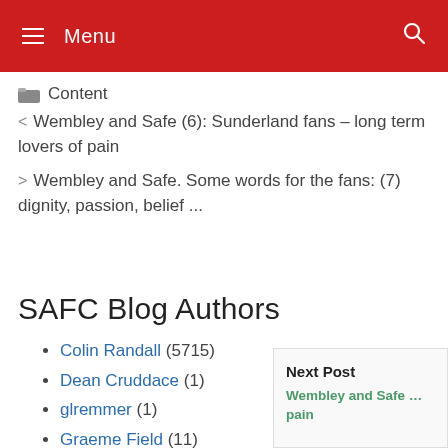Menu
Content
< Wembley and Safe (6): Sunderland fans – long term lovers of pain
> Wembley and Safe. Some words for the fans: (7) dignity, passion, belief ...
SAFC Blog Authors
Colin Randall (5715)
Dean Cruddace (1)
glremmer (1)
Graeme Field (11)
Malcolm Dawson (472)
Next Post
Wembley and Safe... pain